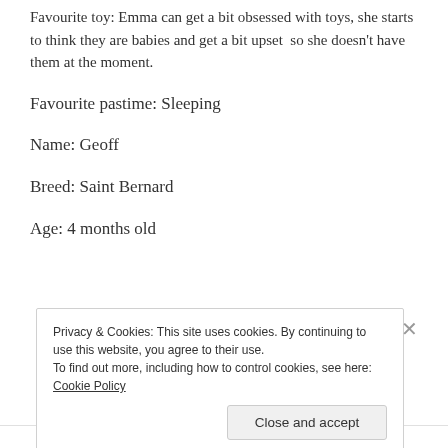Favourite toy: Emma can get a bit obsessed with toys, she starts to think they are babies and get a bit upset so she doesn't have them at the moment.
Favourite pastime: Sleeping
Name: Geoff
Breed: Saint Bernard
Age: 4 months old
Privacy & Cookies: This site uses cookies. By continuing to use this website, you agree to their use. To find out more, including how to control cookies, see here: Cookie Policy
Close and accept